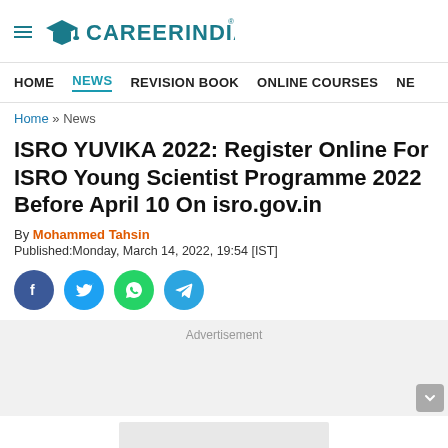[Figure (logo): CareerIndia logo with graduation cap icon and hamburger menu]
HOME   NEWS   REVISION BOOK   ONLINE COURSES   NE
Home » News
ISRO YUVIKA 2022: Register Online For ISRO Young Scientist Programme 2022 Before April 10 On isro.gov.in
By Mohammed Tahsin
Published:Monday, March 14, 2022, 19:54 [IST]
[Figure (infographic): Social share buttons: Facebook, Twitter, WhatsApp, Telegram]
Advertisement